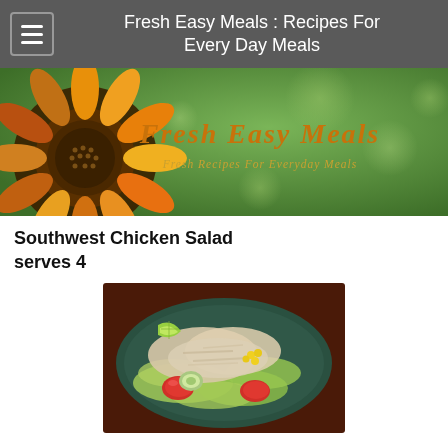Fresh Easy Meals : Recipes For Every Day Meals
[Figure (photo): Website banner with sunflower on left side and green bokeh background. Text reads 'Fresh Easy Meals' in orange italic bold font and 'Fresh Recipes For Everyday Meals' in gold italic font.]
Southwest Chicken Salad serves 4
[Figure (photo): Photo of Southwest Chicken Salad on a dark green/teal plate — shredded chicken, lettuce, tomatoes, cucumbers, corn, with a lime wedge, on a dark reddish-brown surface.]